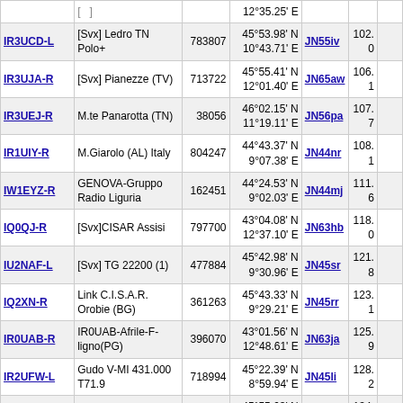| Callsign | Description | ID | Coordinates | Locator | Dist |  |
| --- | --- | --- | --- | --- | --- | --- |
|  | [...] |  | 12°35.25' E |  |  |  |
| IR3UCD-L | [Svx] Ledro TN Polo+ | 783807 | 45°53.98' N 10°43.71' E | JN55iv | 102.0 |  |
| IR3UJA-R | [Svx] Pianezze (TV) | 713722 | 45°55.41' N 12°01.40' E | JN65aw | 106.1 |  |
| IR3UEJ-R | M.te Panarotta (TN) | 38056 | 46°02.15' N 11°19.11' E | JN56pa | 107.7 |  |
| IR1UIY-R | M.Giarolo (AL) Italy | 804247 | 44°43.37' N 9°07.38' E | JN44nr | 108.1 |  |
| IW1EYZ-R | GENOVA-Gruppo Radio Liguria | 162451 | 44°24.53' N 9°02.03' E | JN44mj | 111.6 |  |
| IQ0QJ-R | [Svx]CISAR Assisi | 797700 | 43°04.08' N 12°37.10' E | JN63hb | 118.0 |  |
| IU2NAF-L | [Svx] TG 22200 (1) | 477884 | 45°42.98' N 9°30.96' E | JN45sr | 121.8 |  |
| IQ2XN-R | Link C.I.S.A.R. Orobie (BG) | 361263 | 45°43.33' N 9°29.21' E | JN45rr | 123.1 |  |
| IR0UAB-R | IR0UAB-Afrile-F-ligno(PG) | 396070 | 43°01.56' N 12°48.61' E | JN63ja | 125.9 |  |
| IR2UFW-L | Gudo V-MI 431.000 T71.9 | 718994 | 45°22.39' N 8°59.94' E | JN45li | 128.2 |  |
| IW2HNB-L | [Svx] Valsassina | 603163 | 45°55.63' N 9°27.33' E | JN45rw | 134.3 |  |
| IR2UBX-L | 432.525 T71.9 - JN45MQ | 504610 | 45°41.73' N 9°02.41' E | JN45mq | 138.4 |  |
| IR3UGM-R | [offline] | 55883 | 46°29.61' N | JN56ol | 139.4 |  |